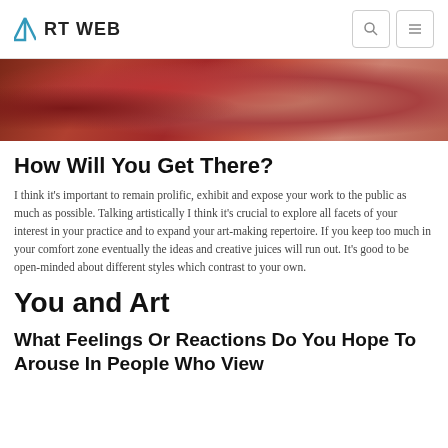ART WEB
[Figure (photo): Close-up photo of hands or organic red/flesh-toned subject matter, appears to be an art-related image with reddish and skin-toned colors]
How Will You Get There?
I think it’s important to remain prolific, exhibit and expose your work to the public as much as possible. Talking artistically I think it’s crucial to explore all facets of your interest in your practice and to expand your art-making repertoire. If you keep too much in your comfort zone eventually the ideas and creative juices will run out. It’s good to be open-minded about different styles which contrast to your own.
You and Art
What Feelings Or Reactions Do You Hope To Arouse In People Who View